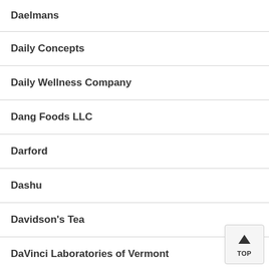Daelmans
Daily Concepts
Daily Wellness Company
Dang Foods LLC
Darford
Dashu
Davidson's Tea
DaVinci Laboratories of Vermont